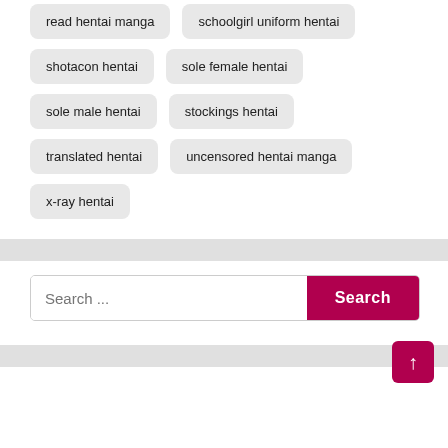read hentai manga
schoolgirl uniform hentai
shotacon hentai
sole female hentai
sole male hentai
stockings hentai
translated hentai
uncensored hentai manga
x-ray hentai
Search ...
Search